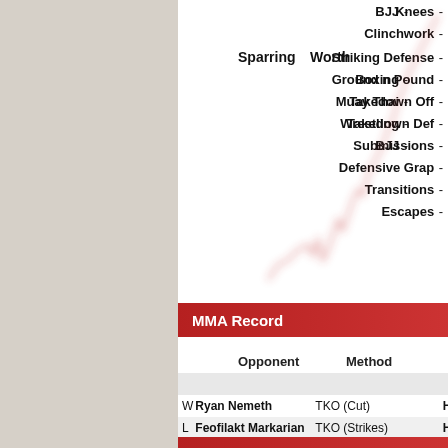Sparring  Worth
Boxing -
Muay Thai -
Wrestling -
BJJ -
Knees -
Clinchwork -
Striking Defense -
Ground n Pound -
Takedown Off -
Takedown Def -
Submissions -
Defensive Grap -
Transitions -
Escapes -
[Figure (line-chart): Red line chart showing upward trend, faded/blurred in background]
MMA Record
|  | Opponent | Method | Event |
| --- | --- | --- | --- |
| W | Ryan Nemeth | TKO (Cut) | Hig |
| L | Feofilakt Markarian | TKO (Strikes) | Hig |
| W | Mo Greene | KO (Punch) | Hig |
| L | Hovon Jankens | KO (Strikes) | Hig |
| L | Olan Johnson | KO (Head Kick)🟡 | Hig |
| W | Jebediah Springfield | TKO (Cut) | Hig |
| W | Vick Venom | Submission (Strikes) | Hig |
| W | Johanas Jankens | TKO (Knee & Punches) | Hig |
| L | Africa Boombada | Decision (Unanimous) | Qui |